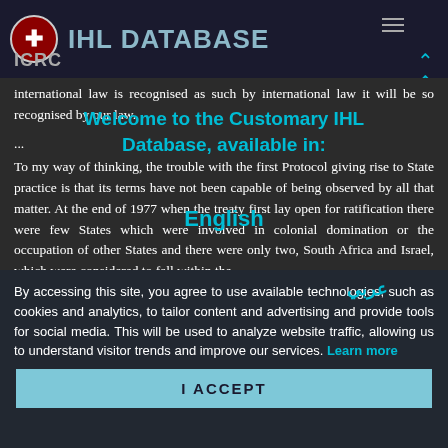IHL DATABASE — ICRC
international law is recognised as such by international law it will be so recognised by our law.
...
Welcome to the Customary IHL Database, available in:
To my way of thinking, the trouble with the first Protocol giving rise to State practice is that its terms have not been capable of being observed by all that matter. At the end of 1977 when the treaty first lay open for ratification there were few States which were involved in colonial domination or the occupation of other States and there were only two, South Africa and Israel, which were considered to fall within the
English
عربي
By accessing this site, you agree to use available technologies, such as cookies and analytics, to tailor content and advertising and provide tools for social media. This will be used to analyze website traffic, allowing us to understand visitor trends and improve our services. Learn more
I ACCEPT